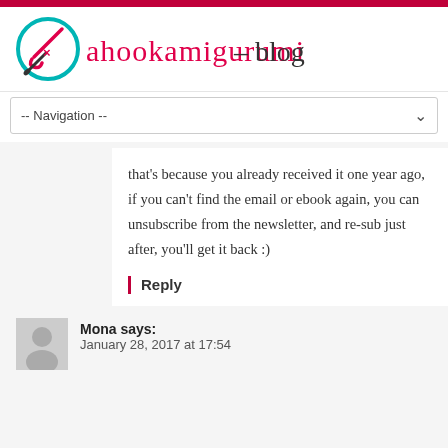ahookamigurumi – blog
-- Navigation --
that's because you already received it one year ago, if you can't find the email or ebook again, you can unsubscribe from the newsletter, and re-sub just after, you'll get it back :)
Reply
Mona says:
January 28, 2017 at 17:54